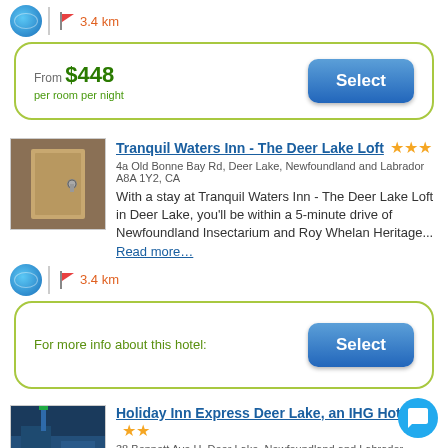3.4 km
From $448 per room per night
Select
Tranquil Waters Inn - The Deer Lake Loft ★★★
4a Old Bonne Bay Rd, Deer Lake, Newfoundland and Labrador A8A 1Y2, CA
With a stay at Tranquil Waters Inn - The Deer Lake Loft in Deer Lake, you'll be within a 5-minute drive of Newfoundland Insectarium and Roy Whelan Heritage... Read more…
3.4 km
For more info about this hotel:
Select
Holiday Inn Express Deer Lake, an IHG Hotel ★★
38 Bennett Ave H, Deer Lake, Newfoundland and Labrador A8A1A9, CA
Located in Deer Lake, Holiday Inn Express Deer Lake, an IHG Hotel…